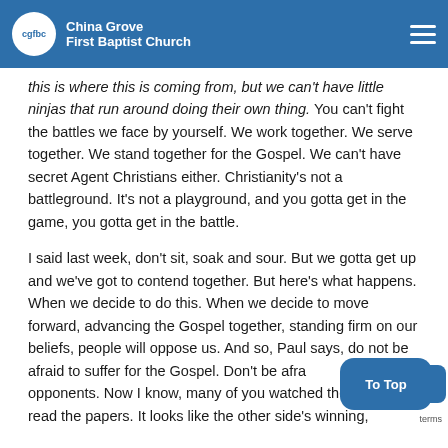China Grove First Baptist Church
this is where this is coming from, but we can't have little ninjas that run around doing their own thing. You can't fight the battles we face by yourself. We work together. We serve together. We stand together for the Gospel. We can't have secret Agent Christians either. Christianity's not a battleground. It's not a playground, and you gotta get in the game, you gotta get in the battle.
I said last week, don't sit, soak and sour. But we gotta get up and we've got to contend together. But here's what happens. When we decide to do this. When we decide to move forward, advancing the Gospel together, standing firm on our beliefs, people will oppose us. And so, Paul says, do not be afraid to suffer for the Gospel. Don't be afraid of your opponents. Now I know, many of you watched the news, read the papers. It looks like the other side's winning,